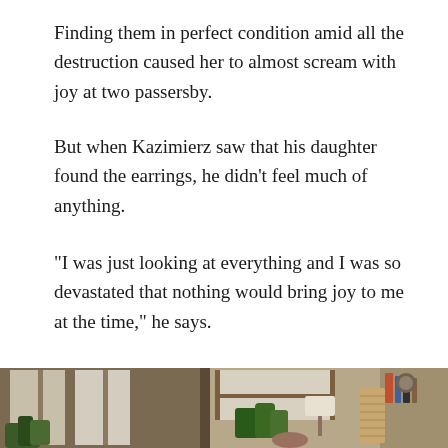Finding them in perfect condition amid all the destruction caused her to almost scream with joy at two passersby.
But when Kazimierz saw that his daughter found the earrings, he didn’t feel much of anything.
“I was just looking at everything and I was so devastated that nothing would bring joy to me at the time,” he says.
[Figure (photo): A photograph showing an interior scene with windows, plants on a windowsill, a lamp, and decorative items on the right side. Natural light comes through the windows.]